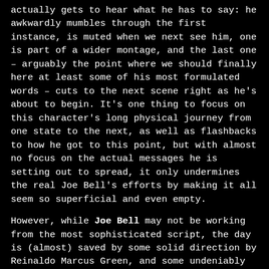actually gets to hear what he has to say: he awkwardly mumbles through the first instance, is muted when we next see him, one is part of a wider montage, and the last one – arguably the point where we should finally here at least some of his most formulated words – cuts to the next scene right as he's about to begin. It's one thing to focus on this character's long physical journey from one state to the next, as well as flashbacks to how he got to this point, but with almost no focus on the actual messages he is setting out to spread, it only undermines the real Joe Bell's efforts by making it all seem so superficial and even empty.
However, while Joe Bell may not be working from the most sophisticated script, the day is (almost) saved by some solid direction by Reinaldo Marcus Green, and some undeniably effective central performances. With an approach that's closer to his feature debut Monsters and Men than his more accessible King Richard, Green's fly-on-